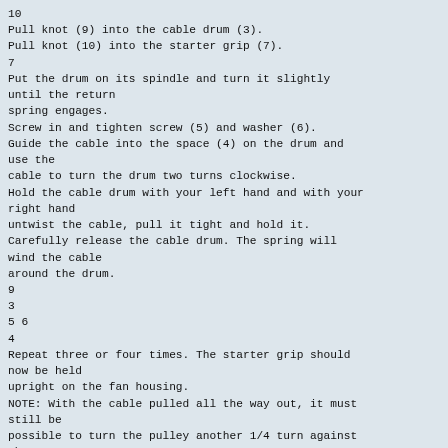10
Pull knot (9) into the cable drum (3).
Pull knot (10) into the starter grip (7).
7
Put the drum on its spindle and turn it slightly until the return
spring engages.
Screw in and tighten screw (5) and washer (6).
Guide the cable into the space (4) on the drum and use the
cable to turn the drum two turns clockwise.
Hold the cable drum with your left hand and with your right hand
untwist the cable, pull it tight and hold it.
Carefully release the cable drum. The spring will wind the cable
around the drum.
9
3
5 6
4
Repeat three or four times. The starter grip should now be held
upright on the fan housing.
NOTE: With the cable pulled all the way out, it must still be
possible to turn the pulley another 1/4 turn against the return
spring.
CAUTION: Danger of injury! Secure the cable grip when pulled out! It will whip back if the cable pulley is released
by accident.